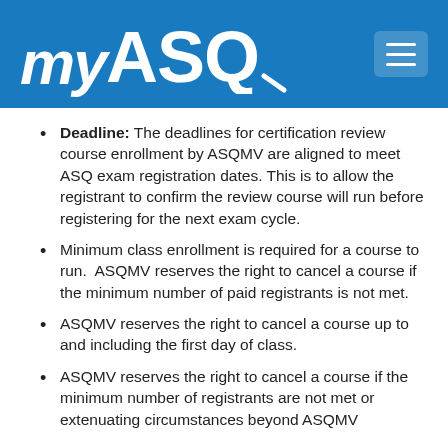[Figure (logo): myASQ logo in white text on blue header background, with a hamburger menu icon on the right]
Deadline: The deadlines for certification review course enrollment by ASQMV are aligned to meet ASQ exam registration dates. This is to allow the registrant to confirm the review course will run before registering for the next exam cycle.
Minimum class enrollment is required for a course to run.  ASQMV reserves the right to cancel a course if the minimum number of paid registrants is not met.
ASQMV reserves the right to cancel a course up to and including the first day of class.
ASQMV reserves the right to cancel a course if the minimum number of registrants are not met or extenuating circumstances beyond ASQMV